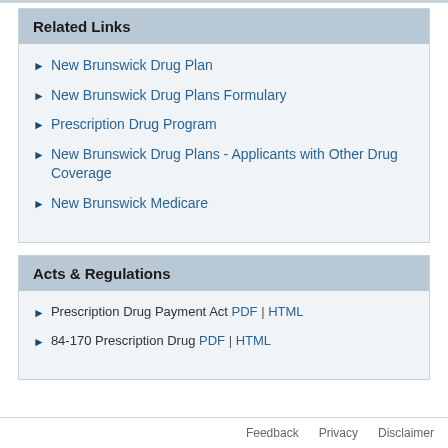Related Links
New Brunswick Drug Plan
New Brunswick Drug Plans Formulary
Prescription Drug Program
New Brunswick Drug Plans - Applicants with Other Drug Coverage
New Brunswick Medicare
Acts & Regulations
Prescription Drug Payment Act PDF | HTML
84-170 Prescription Drug PDF | HTML
Feedback   Privacy   Disclaimer